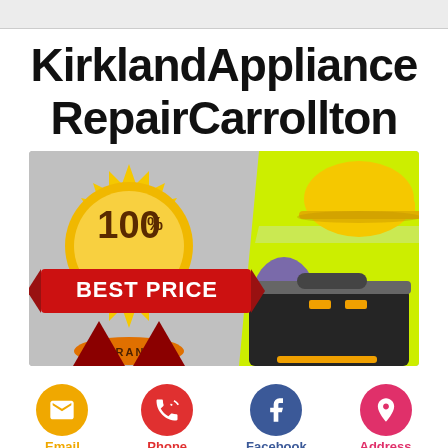KirklandAppliance RepairCarrollton
[Figure (illustration): Promotional image showing a 100% Best Price Guarantee gold seal badge with red ribbon banner, overlaid on a background of a worker in yellow safety vest and hard hat holding a toolbox]
Email  Phone  Facebook  Address